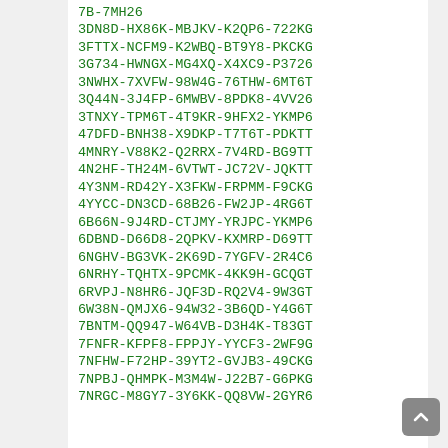7B-7MH26
3DN8D-HX86K-MBJKV-K2QP6-722KG
3FTTX-NCFM9-K2WBQ-BT9Y8-PKCKG
3G734-HWNGX-MG4XQ-X4XC9-P3726
3NWHX-7XVFW-98W4G-76THW-6MT6T
3Q44N-3J4FP-6MWBV-8PDK8-4VV26
3TNXY-TPM6T-4T9KR-9HFX2-YKMP6
47DFD-BNH38-X9DKP-T7T6T-PDKTT
4MNRY-V88K2-Q2RRX-7V4RD-BG9TT
4N2HF-TH24M-6VTWT-JC72V-JQKTT
4Y3NM-RD42Y-X3FKW-FRPMM-F9CKG
4YYCC-DN3CD-68B26-FW2JP-4RG6T
6B66N-9J4RD-CTJMY-YRJPC-YKMP6
6DBND-D66D8-2QPKV-KXMRP-D69TT
6NGHV-BG3VK-2K69D-7YGFV-2R4C6
6NRHY-TQHTX-9PCMK-4KK9H-GCQGT
6RVPJ-N8HR6-JQF3D-RQ2V4-9W3GT
6W38N-QMJX6-94W32-3B6QD-Y4G6T
7BNTM-QQ947-W64VB-D3H4K-T83GT
7FNFR-KFPF8-FPPJY-YYCF3-2WF9G
7NFHW-F72HP-39YT2-GVJB3-49CKG
7NPBJ-QHMPK-M3M4W-J22B7-G6PKG
7NRGC-M8GY7-3Y6KK-QQ8VW-2GYR6